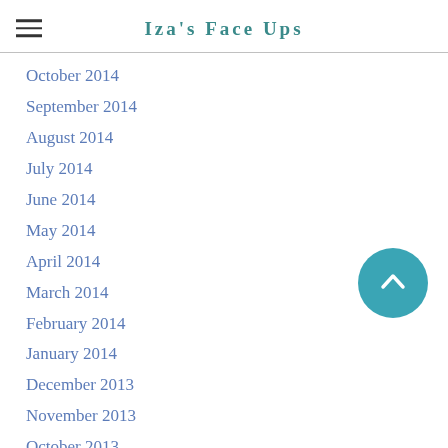Iza's Face Ups
October 2014
September 2014
August 2014
July 2014
June 2014
May 2014
April 2014
March 2014
February 2014
January 2014
December 2013
November 2013
October 2013
September 2013
August 2013
July 2013
June 2013